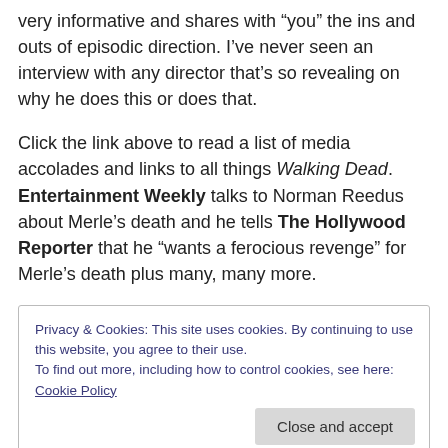very informative and shares with "you" the ins and outs of episodic direction. I've never seen an interview with any director that's so revealing on why he does this or does that.
Click the link above to read a list of media accolades and links to all things Walking Dead. Entertainment Weekly talks to Norman Reedus about Merle's death and he tells The Hollywood Reporter that he "wants a ferocious revenge" for Merle's death plus many, many more.
Privacy & Cookies: This site uses cookies. By continuing to use this website, you agree to their use.
To find out more, including how to control cookies, see here: Cookie Policy
Season Finale of Season 3, which looks to answer all